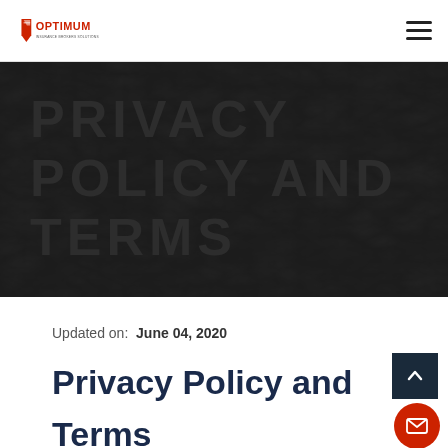Optimum logo and navigation menu
PRIVACY POLICY AND TERMS
Updated on: June 04, 2020
Privacy Policy and Terms